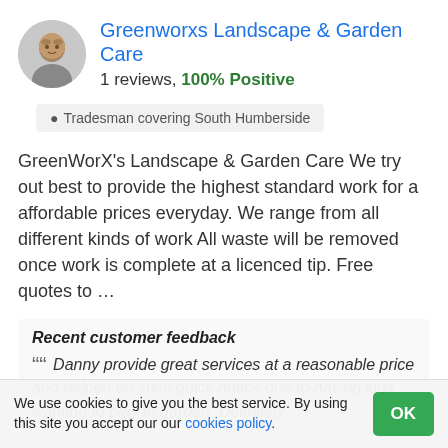Greenworxs Landscape & Garden Care
1 reviews, 100% Positive
Tradesman covering South Humberside
GreenWorX's Landscape & Garden Care We try out best to provide the highest standard work for a affordable prices everyday. We range from all different kinds of work All waste will be removed once work is complete at a licenced tip. Free quotes to …
Recent customer feedback
Danny provide great services at a reasonable price and helped on such quick notice due to having kids wanting to play in garden. Definitely
We use cookies to give you the best service. By using this site you accept our our cookies policy.